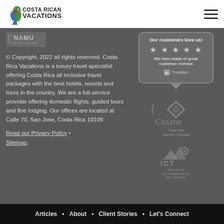[Figure (logo): Costa Rican Vacations logo with parrot graphic in top-left white header]
[Figure (logo): Namu Travel Group logo]
© Copyright, 2022 all rights reserved. Costa Rica Vacations is a luxury travel specialist offering Costa Rica all inclusive travel packages with the best hotels, resorts and tours in the country. We are a full-service provider offering domestic flights, guided tours and fine lodging. Our offices are located at Calle 70, San Jose, Costa Rica 10109
Read our Privacy Policy • Sitemap
[Figure (other): Trustpilot badge: Our customers love us! 5 stars. We have loads of great customer reviews. Trustpilot logo.]
[Figure (logo): Canatur Costa Rica Tourism Chamber logo]
[Figure (logo): ICT Instituto Costarricense de Turismo logo]
Articles • About • Client Stories • Let's Connect